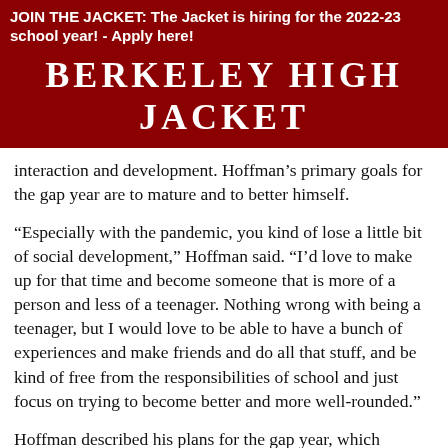JOIN THE JACKET: The Jacket is hiring for the 2022-23 school year! - Apply here!
BERKELEY HIGH JACKET
interaction and development. Hoffman’s primary goals for the gap year are to mature and to better himself.
“Especially with the pandemic, you kind of lose a little bit of social development,” Hoffman said. “I’d love to make up for that time and become someone that is more of a person and less of a teenager. Nothing wrong with being a teenager, but I would love to be able to have a bunch of experiences and make friends and do all that stuff, and be kind of free from the responsibilities of school and just focus on trying to become better and more well-rounded.”
Hoffman described his plans for the gap year, which include visiting his sister in Europe, working at Chez